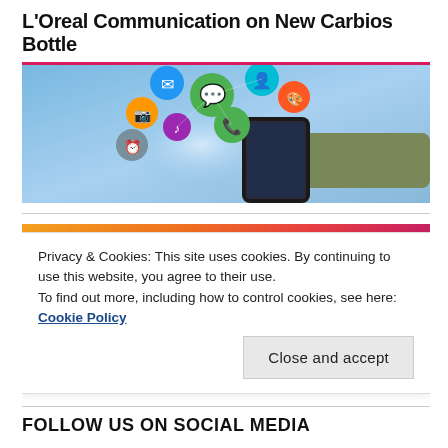L'Oreal Communication on New Carbios Bottle
[Figure (photo): Hand holding a smartphone with colorful social media app icons floating above it on a blue gradient background]
[Figure (photo): Orange to pink gradient banner with dark silhouette figures of people along the bottom]
Privacy & Cookies: This site uses cookies. By continuing to use this website, you agree to their use.
To find out more, including how to control cookies, see here: Cookie Policy
Close and accept
FOLLOW US ON SOCIAL MEDIA